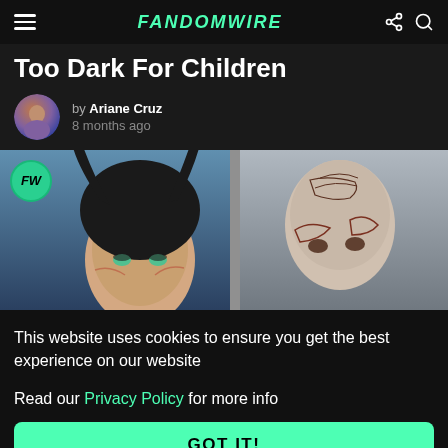FandomWire
Too Dark For Children
by Ariane Cruz
8 months ago
[Figure (photo): Hero image showing two figures: on the left, a character with black horns and dark makeup (Maleficent), on the right, a bald person with facial tattoos/markings. FandomWire FW logo badge in top-left corner of the image.]
This website uses cookies to ensure you get the best experience on our website

Read our Privacy Policy for more info
GOT IT!